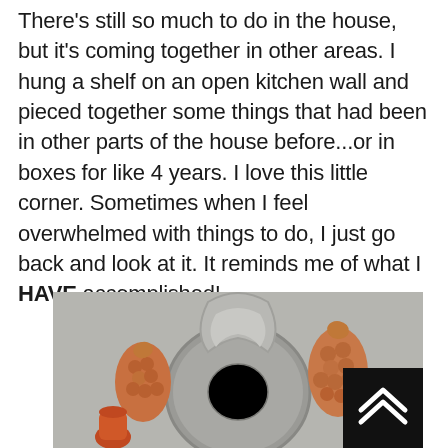There's still so much to do in the house, but it's coming together in other areas. I hung a shelf on an open kitchen wall and pieced together some things that had been in other parts of the house before...or in boxes for like 4 years. I love this little corner. Sometimes when I feel overwhelmed with things to do, I just go back and look at it. It reminds me of what I HAVE accomplished!
[Figure (photo): Photo of decorative kitchen shelf items including copper-toned fruit molds, a large silver/pewter circular plate and crescent shape, and a scroll-to-top button overlay in bottom right corner.]